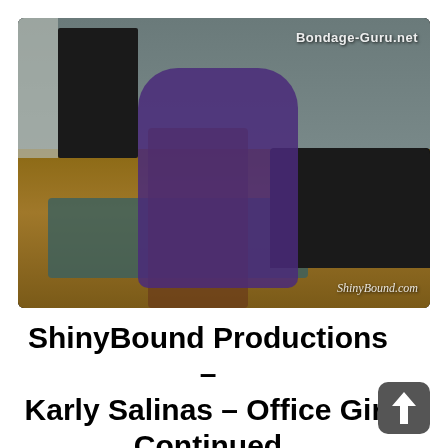[Figure (photo): Video thumbnail showing a woman in a purple satin outfit tied to a wooden chair in an indoor room setting, with a bookcase, room divider, and black leather sofa visible. Watermarks read 'Bondage-Guru.net' (top right) and 'ShinyBound.com' (bottom right).]
ShinyBound Productions – Karly Salinas – Office Girl Continued